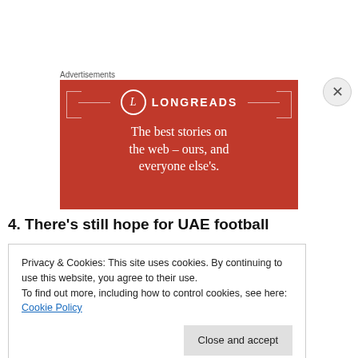Advertisements
[Figure (illustration): Longreads advertisement banner on red background with logo circle containing 'L', decorative brackets and lines, and tagline 'The best stories on the web – ours, and everyone else's.']
4. There's still hope for UAE football
Privacy & Cookies: This site uses cookies. By continuing to use this website, you agree to their use.
To find out more, including how to control cookies, see here: Cookie Policy
Close and accept